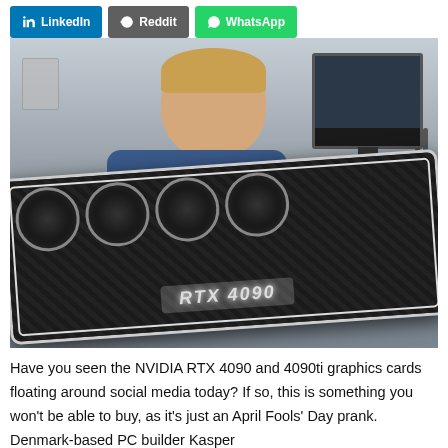LinkedIn  Reddit  WhatsApp
[Figure (photo): A man holding a large NVIDIA RTX 4090 graphics card with multiple fans, in front of a computer monitor and workbench]
Have you seen the NVIDIA RTX 4090 and 4090ti graphics cards floating around social media today? If so, this is something you won't be able to buy, as it's just an April Fools' Day prank. Denmark-based PC builder Kasper